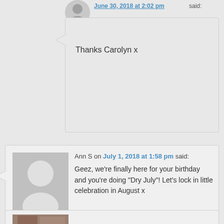Thanks Carolyn x
Ann S on July 1, 2018 at 1:58 pm said:
Geez, we’re finally here for your birthday and you’re doing “Dry July”! Let’s lock in little celebration in August x